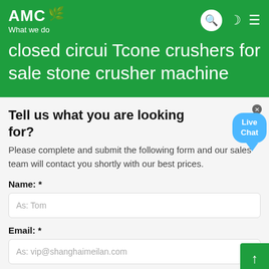AMC What we do
closed circui Tcone crushers for sale stone crusher machine
Tell us what you are looking for?
Please complete and submit the following form and our sales team will contact you shortly with our best prices.
Name: *
As: Tom
Email: *
As: vip@shanghaimeilan.com
Phone: *
With Country Code